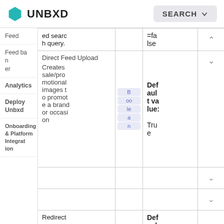UNBXD | SEARCH
| Category | Description | Type | Default value |  |
| --- | --- | --- | --- | --- |
| Feed | ed search query. |  | =false | ^ |
| Feed ban | Direct Feed Upload
Creates sale/promotional images to promote a brand or occasion | Boolean | Default value: True | v |
| Analytics |  |  |  | v |
| Deploy Unbxd |  |  |  | v |
| Onboarding & Platform Integration |  |  |  | v |
|  | Redirect... |  | Default value: |  |